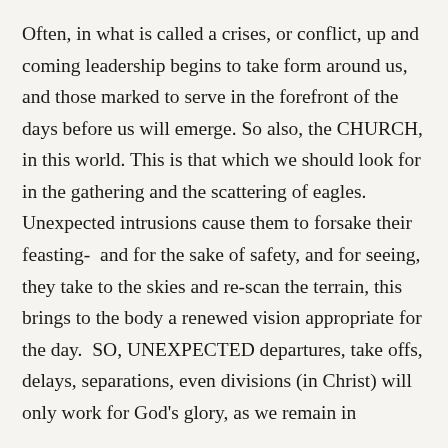Often, in what is called a crises, or conflict, up and coming leadership begins to take form around us, and those marked to serve in the forefront of the days before us will emerge. So also, the CHURCH, in this world. This is that which we should look for in the gathering and the scattering of eagles. Unexpected intrusions cause them to forsake their feasting-  and for the sake of safety, and for seeing, they take to the skies and re-scan the terrain, this brings to the body a renewed vision appropriate for the day.  SO, UNEXPECTED departures, take offs, delays, separations, even divisions (in Christ) will only work for God's glory, as we remain in